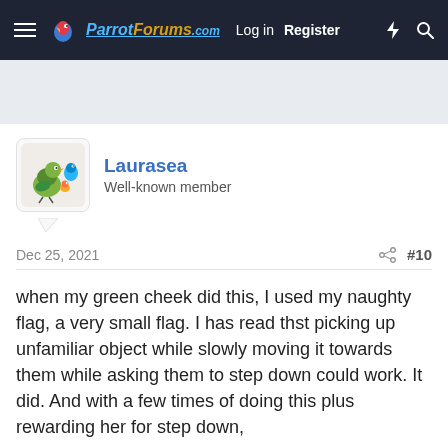ParrotForums.com  Log in  Register
[Figure (illustration): ParrotForums.com navigation bar with hamburger menu, logo, Log in and Register links, and icons]
[Figure (illustration): Laurasea user avatar showing colorful cartoon parrots/birds]
Laurasea
Well-known member
Dec 25, 2021
#10
when my green cheek did this, I used my naughty flag, a very small flag. I has read thst picking up unfamiliar object while slowly moving it towards them while asking them to step down could work. It did. And with a few times of doing this plus rewarding her for step down,
this issue was solved. I've since lost the flag, I just raise my left hand if ever she is being stubborn abd she